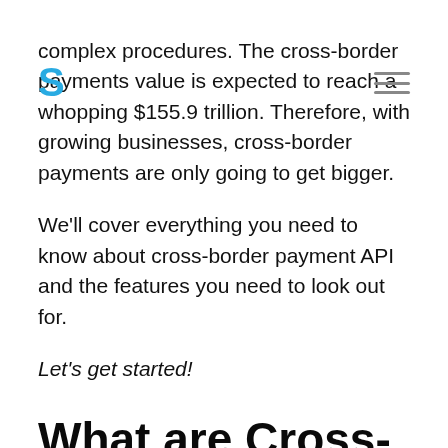complex procedures. The cross-border payments value is expected to reach a whopping $155.9 trillion. Therefore, with growing businesses, cross-border payments are only going to get bigger.
We'll cover everything you need to know about cross-border payment API and the features you need to look out for.
Let's get started!
What are Cross-border Payments?
Cross-border payments are transactions...